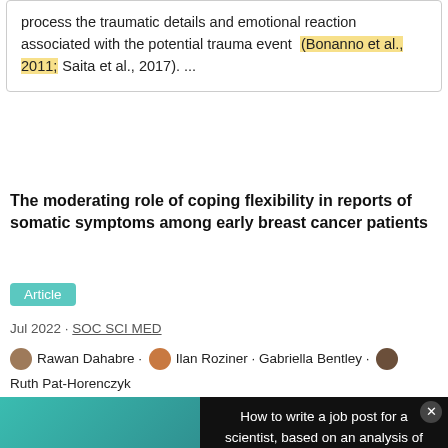process the traumatic details and emotional reaction associated with the potential trauma event (Bonanno et al., 2011; Saita et al., 2017). ...
The moderating role of coping flexibility in reports of somatic symptoms among early breast cancer patients
Article
Jul 2022 · SOC SCI MED
Rawan Dahabre · Ilan Roziner · Gabriella Bentley · Ruth Pat-Horenczyk
[Figure (screenshot): Advertisement overlay showing a video thumbnail titled 'How to Write a Job Post for a Scientist' alongside text: 'How to write a job post for a scientist, based on an analysis of how scientists have engaged with 2-million job posts']
styles differ in whether people focus on (i.e., trauma focus) or move beyond (i.e., forward focus) the impact of a potentially traumatic event (Bonanno et al., 2011). Given that both coping styles have been found protective following potentially traumatic events in the European-American cultures (Bonanno et al., 2011), it is important